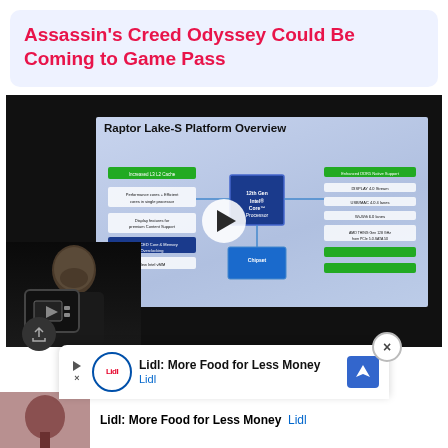Assassin's Creed Odyssey Could Be Coming to Game Pass
[Figure (screenshot): Video thumbnail/player showing a presentation slide titled 'Raptor Lake-S Platform Overview' with Intel processor platform diagram. A person is visible in the lower left. A play button is shown in the center. A channel logo appears bottom left.]
Lidl: More Food for Less Money
Lidl